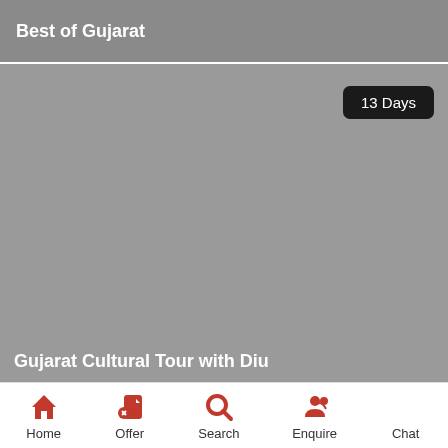Best of Gujarat
[Figure (photo): Gray placeholder image for Gujarat Cultural Tour with Diu, showing a '13 Days' badge in the top right corner]
Gujarat Cultural Tour with Diu
Home | Offer | Search | Enquire | Chat